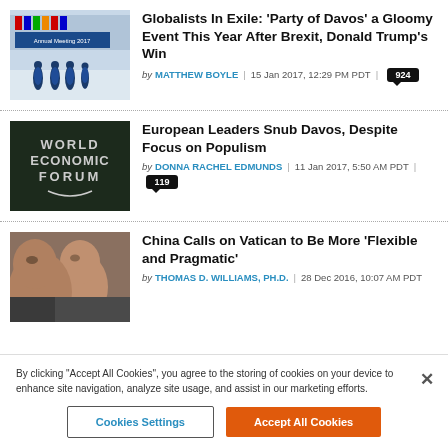[Figure (photo): People in blue jackets walking in front of a Davos 2017 Annual Meeting banner]
Globalists In Exile: ‘Party of Davos’ a Gloomy Event This Year After Brexit, Donald Trump’s Win
by MATTHEW BOYLE | 15 Jan 2017, 12:29 PM PDT | 924
[Figure (photo): World Economic Forum logo on dark background]
European Leaders Snub Davos, Despite Focus on Populism
by DONNA RACHEL EDMUNDS | 11 Jan 2017, 5:50 AM PDT | 119
[Figure (photo): Two Asian men in close-up, appears to be praying or contemplative]
China Calls on Vatican to Be More ‘Flexible and Pragmatic’
by THOMAS D. WILLIAMS, PH.D. | 28 Dec 2016, 10:07 AM PDT
By clicking “Accept All Cookies”, you agree to the storing of cookies on your device to enhance site navigation, analyze site usage, and assist in our marketing efforts.